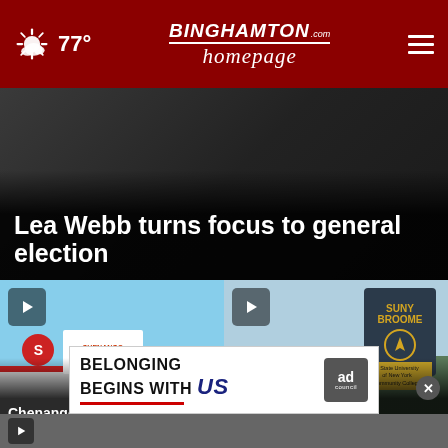77° | BinghamtonHomepage.com
[Figure (screenshot): Hero image - Lea Webb turns focus to general election news story with dark background]
Lea Webb turns focus to general election
[Figure (photo): Chenango Supply building with blue sky, play button overlay]
Chenango Supply celebrates 60th anniversary
[Figure (photo): SUNY Broome sign with community college signage, play button overlay]
Broome hosts fall faculty...
[Figure (other): Ad banner: BELONGING BEGINS WITH US - Ad Council]